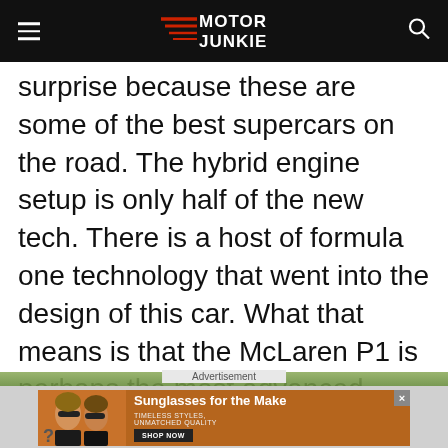Motor Junkie
surprise because these are some of the best supercars on the road. The hybrid engine setup is only half of the new tech. There is a host of formula one technology that went into the design of this car. What that means is that the McLaren P1 is perhaps the most advanced exotic yet.
[Figure (photo): Partial view of a car in motion with green blurred background]
Advertisement
[Figure (photo): Advertisement banner: Sunglasses for the Make — woman wearing sunglasses on orange background. Timeless Styles, Unmatched Quality. Shop Now button.]